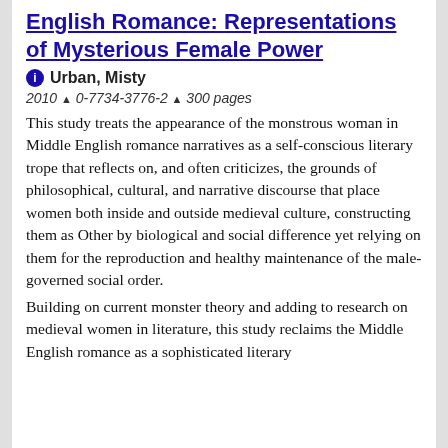English Romance: Representations of Mysterious Female Power
Urban, Misty
2010 ^ 0-7734-3776-2 ^ 300 pages
This study treats the appearance of the monstrous woman in Middle English romance narratives as a self-conscious literary trope that reflects on, and often criticizes, the grounds of philosophical, cultural, and narrative discourse that place women both inside and outside medieval culture, constructing them as Other by biological and social difference yet relying on them for the reproduction and healthy maintenance of the male-governed social order.
Building on current monster theory and adding to research on medieval women in literature, this study reclaims the Middle English romance as a sophisticated literary venue for raising important reflections